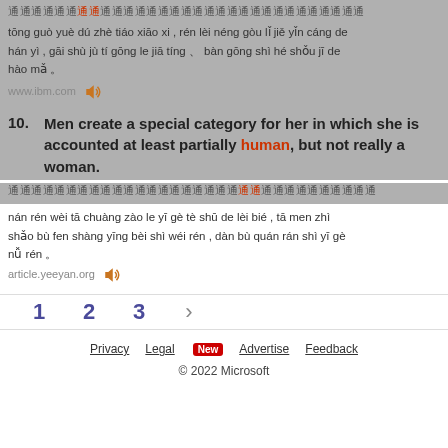通过阅读这条消息，人类能够理解隐藏的含义，该数据提供了家庭、办公室和手机的号码。
tōng guò yuè dú zhè tiáo xiāo xi , rén lèi néng gòu lǐ jiě yǐn cáng de hán yì , gāi shù jù tí gōng le jiā tíng 、 bàn gōng shì hé shǒu jī de hào mǎ 。
www.ibm.com
10. Men create a special category for her in which she is accounted at least partially human, but not really a woman.
男人为她创造了一个特殊的类别，他们至少部分上应被视为人，但不全然是一个女人。
nán rén wèi tā chuàng zào le yī gè tè shū de lèi bié , tā men zhì shǎo bù fen shàng yīng bèi shì wéi rén , dàn bù quán rán shì yī gè nǚ rén 。
article.yeeyan.org
1  2  3  >
Privacy  Legal New  Advertise  Feedback
© 2022 Microsoft